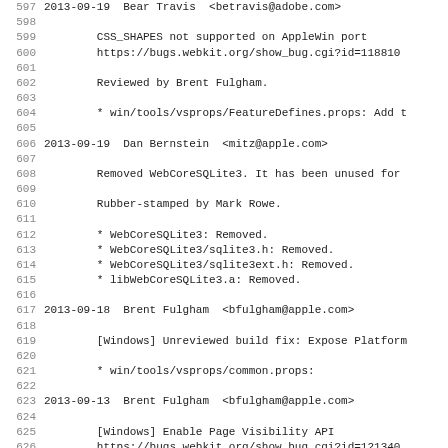Source code changelog / commit log excerpt, lines 597-628
597 2013-09-19  Bear Travis  <betravis@adobe.com>
598
599         CSS_SHAPES not supported on AppleWin port
600         https://bugs.webkit.org/show_bug.cgi?id=118810
601
602         Reviewed by Brent Fulgham.
603
604         * win/tools/vsprops/FeatureDefines.props: Add t
605
606 2013-09-19  Dan Bernstein  <mitz@apple.com>
607
608         Removed WebCoreSQLite3. It has been unused for
609
610         Rubber-stamped by Mark Rowe.
611
612         * WebCoreSQLite3: Removed.
613         * WebCoreSQLite3/sqlite3.h: Removed.
614         * WebCoreSQLite3/sqlite3ext.h: Removed.
615         * libWebCoreSQLite3.a: Removed.
616
617 2013-09-18  Brent Fulgham  <bfulgham@apple.com>
618
619         [Windows] Unreviewed build fix: Expose Platform
620
621         * win/tools/vsprops/common.props:
622
623 2013-09-13  Brent Fulgham  <bfulgham@apple.com>
624
625         [Windows] Enable Page Visibility API
626         https://bugs.webkit.org/show_bug.cgi?id=121340
627
628         Reviewed by Anders Carlsson.